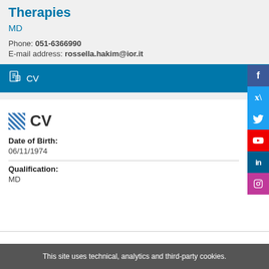Therapies
MD
Phone: 051-6366990
E-mail address: rossella.hakim@ior.it
CV
CV
Date of Birth:
06/11/1974
Qualification:
MD
This site uses technical, analytics and third-party cookies.